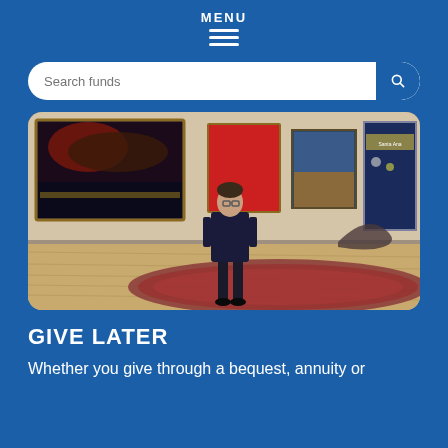MENU
Search funds
[Figure (photo): A person in a dark suit standing in an art gallery with several large paintings on the walls and a decorative rug on the wooden floor. One painting visible says 'Santa Ana'.]
GIVE LATER
Whether you give through a bequest, annuity or